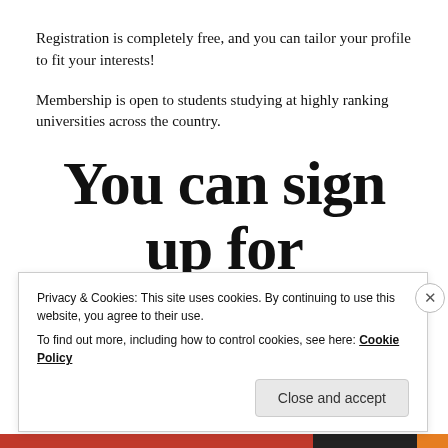Registration is completely free, and you can tailor your profile to fit your interests!
Membership is open to students studying at highly ranking universities across the country.
You can sign up for free here.
Privacy & Cookies: This site uses cookies. By continuing to use this website, you agree to their use.
To find out more, including how to control cookies, see here: Cookie Policy
Close and accept